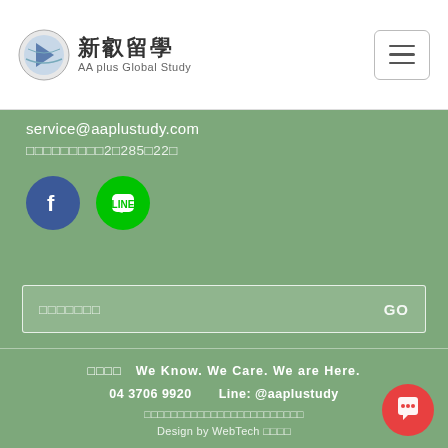[Figure (logo): 新叡留學 AA plus Global Study logo with globe/book icon]
service@aaplustudy.com
□□□□□□□□□2□285□22□
[Figure (logo): Facebook and LINE social media icons]
□□□□□□□  GO
□□□□  We Know. We Care. We are Here.
04 3706 9920   Line: @aaplustudy
□□□□□□□□□□□□□□□□□□□□□□□□
Design by WebTech □□□□